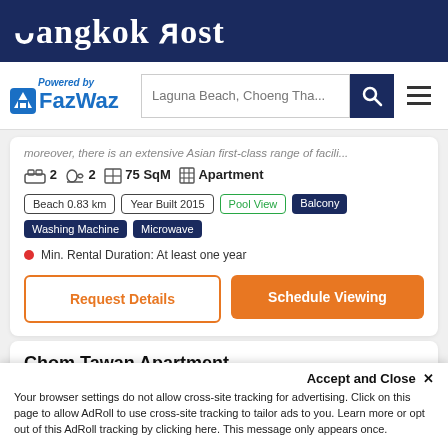Bangkok Post
[Figure (logo): FazWaz logo with 'Powered by' text and search bar with 'Laguna Beach, Choeng Tha...' placeholder, search button, and hamburger menu]
moreover, there is an extensive Asian first-class range of facili...
2  2  75 SqM  Apartment
Beach 0.83 km  Year Built 2015  Pool View  Balcony  Washing Machine  Microwave
Min. Rental Duration: At least one year
Request Details
Schedule Viewing
Chom Tawan Apartment
฿110,000/mo
Choeng Thale
Accept and Close ✕
Your browser settings do not allow cross-site tracking for advertising. Click on this page to allow AdRoll to use cross-site tracking to tailor ads to you. Learn more or opt out of this AdRoll tracking by clicking here. This message only appears once.